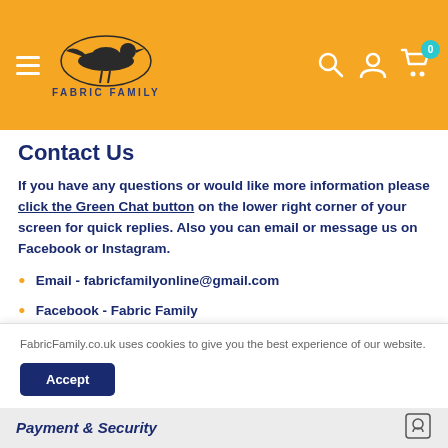FABRIC FAMILY
Contact Us
If you have any questions or would like more information please click the Green Chat button on the lower right corner of your screen for quick replies. Also you can email or message us on Facebook or Instagram.
Email - fabricfamilyonline@gmail.com
Facebook - Fabric Family
FabricFamily.co.uk uses cookies to give you the best experience of our website.
Accept
Payment & Security